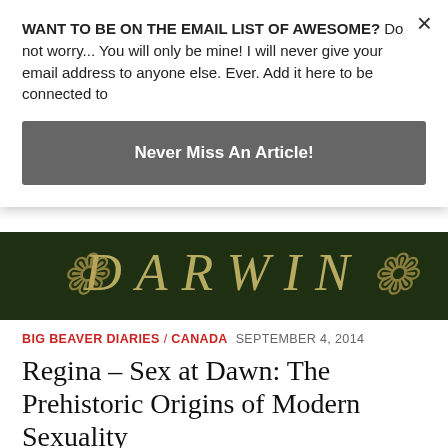WANT TO BE ON THE EMAIL LIST OF AWESOME? Do not worry... You will only be mine! I will never give your email address to anyone else. Ever. Add it here to be connected to
Never Miss An Article!
[Figure (photo): Decorative image with ornate lettering on dark green background, appears to be a book cover detail]
BIG BEAVER DIARIES / CANADA  SEPTEMBER 4, 2014
Regina – Sex at Dawn: The Prehistoric Origins of Modern Sexuality
Sept 4 It was a lazy one today.  Most of it was spent most of it reading.  This blog entry is a little different as I have taken some very interesting parts out a book called, 'Sex at Dawn – The Prehistoric Origins of Modern Sexuality.'